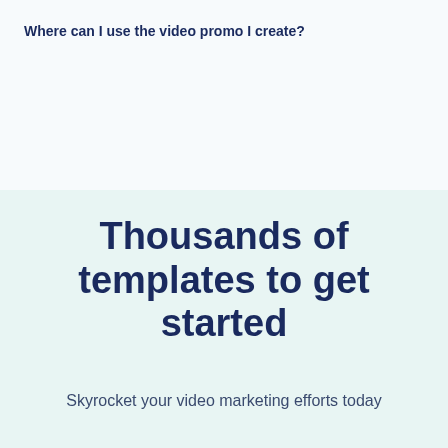Where can I use the video promo I create?
Thousands of templates to get started
Skyrocket your video marketing efforts today